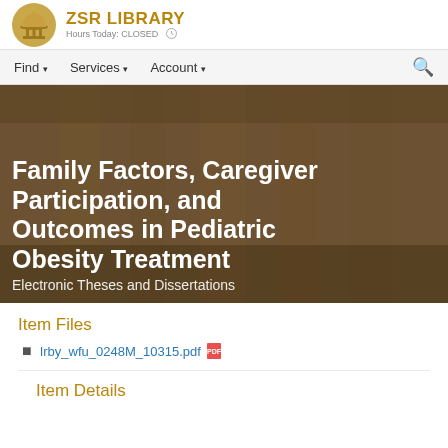ZSR LIBRARY — Hours Today: CLOSED
Find ▾   Services ▾   Account ▾
Family Factors, Caregiver Participation, and Outcomes in Pediatric Obesity Treatment
Electronic Theses and Dissertations
Item Files
Irby_wfu_0248M_10315.pdf
Item Details